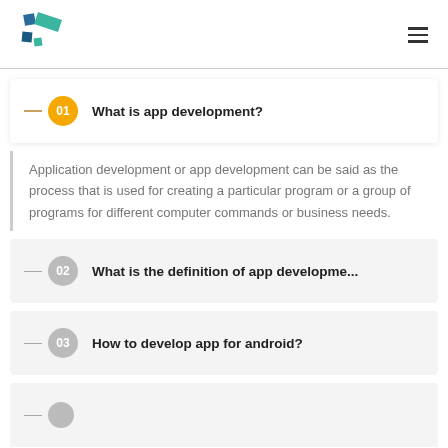App Development FAQ
01 What is app development?
Application development or app development can be said as the process that is used for creating a particular program or a group of programs for different computer commands or business needs.
02 What is the definition of app developme...
03 How to develop app for android?